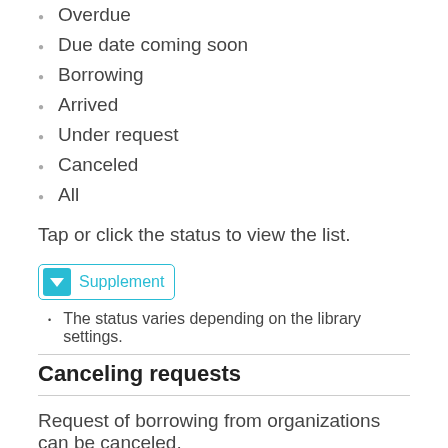Overdue
Due date coming soon
Borrowing
Arrived
Under request
Canceled
All
Tap or click the status to view the list.
[Figure (other): Supplement button with teal down-arrow icon and 'Supplement' label]
The status varies depending on the library settings.
Canceling requests
Request of borrowing from organizations can be canceled.
[Figure (other): Supplement button with teal down-arrow icon and 'Supplement' label]
The library may cancel some requests because of some reasons such that the library (you usually use) holds the